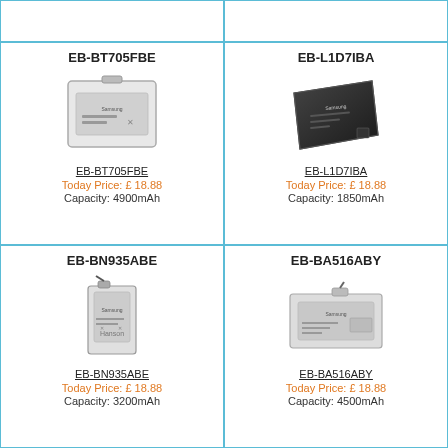[Figure (photo): Empty product cell top-left]
[Figure (photo): Empty product cell top-right]
EB-BT705FBE
[Figure (photo): Samsung EB-BT705FBE battery - white rectangular battery]
EB-BT705FBE
Today Price: £ 18.88
Capacity: 4900mAh
EB-L1D7IBA
[Figure (photo): Samsung EB-L1D7IBA battery - dark angled battery]
EB-L1D7IBA
Today Price: £ 18.88
Capacity: 1850mAh
EB-BN935ABE
[Figure (photo): Samsung EB-BN935ABE battery - tall narrow battery]
EB-BN935ABE
Today Price: £ 18.88
Capacity: 3200mAh
EB-BA516ABY
[Figure (photo): Samsung EB-BA516ABY battery - wide rectangular battery]
EB-BA516ABY
Today Price: £ 18.88
Capacity: 4500mAh